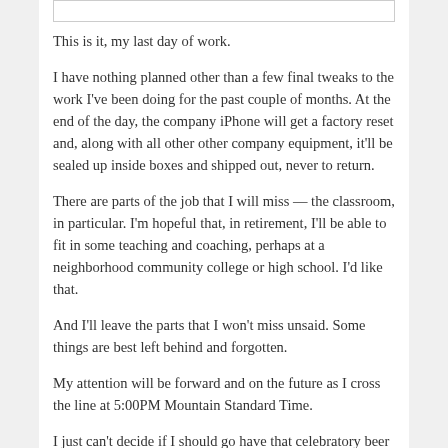This is it, my last day of work.
I have nothing planned other than a few final tweaks to the work I've been doing for the past couple of months. At the end of the day, the company iPhone will get a factory reset and, along with all other other company equipment, it'll be sealed up inside boxes and shipped out, never to return.
There are parts of the job that I will miss — the classroom, in particular. I'm hopeful that, in retirement, I'll be able to fit in some teaching and coaching, perhaps at a neighborhood community college or high school. I'd like that.
And I'll leave the parts that I won't miss unsaid. Some things are best left behind and forgotten.
My attention will be forward and on the future as I cross the line at 5:00PM Mountain Standard Time.
I just can't decide if I should go have that celebratory beer on my last day of work or on my last day of employment?
Or maybe I should celebrate equally on both of them